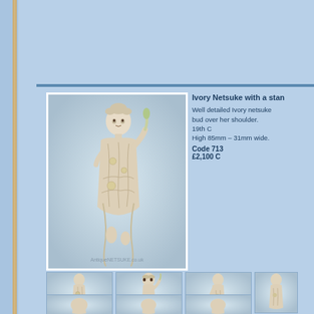[Figure (photo): Main product photo of an ivory netsuke figurine of a standing young woman with detailed carving, watermarked AntiqueNETSUKE.co.uk]
Ivory Netsuke with a sta...
Well detailed Ivory netsuke... bud over her shoulder. 19th C High 85mm – 31mm wide.
Code 713
£2,100 C
[Figure (photo): Thumbnail 1: front view of ivory netsuke figurine]
[Figure (photo): Thumbnail 2: side view of ivory netsuke figurine]
[Figure (photo): Thumbnail 3: back view of ivory netsuke figurine]
[Figure (photo): Thumbnail 4: detail view of ivory netsuke figurine (partially visible)]
[Figure (photo): Thumbnail 5 (second row, partial): detail view]
[Figure (photo): Thumbnail 6 (second row, partial): detail view]
[Figure (photo): Thumbnail 7 (second row, partial): detail view]